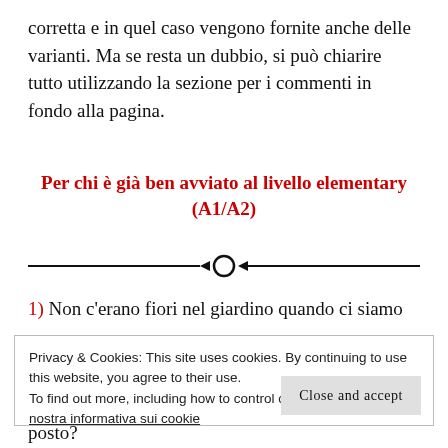corretta e in quel caso vengono fornite anche delle varianti. Ma se resta un dubbio, si può chiarire tutto utilizzando la sezione per i commenti in fondo alla pagina.
Per chi è già ben avviato al livello elementary (A1/A2)
1) Non c'erano fiori nel giardino quando ci siamo
Privacy & Cookies: This site uses cookies. By continuing to use this website, you agree to their use.
To find out more, including how to control cookies, see here: La nostra informativa sui cookie
pnsto?